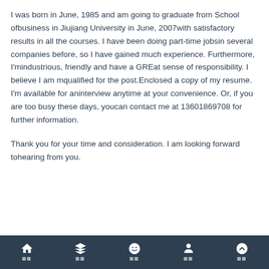I was born in June, 1985 and am going to graduate from School ofbusiness in Jiujiang University in June, 2007with satisfactory results in all the courses. I have been doing part-time jobsin several companies before, so I have gained much experience. Furthermore, I'mindustrious, friendly and have a GREat sense of responsibility. I believe I am mqualified for the post.Enclosed a copy of my resume. I'm available for aninterview anytime at your convenience. Or, if you are too busy these days, youcan contact me at 13601869708 for further information.
Thank you for your time and consideration. I am looking forward tohearing from you.
Navigation bar with home, layers, face, person, and up-arrow icons